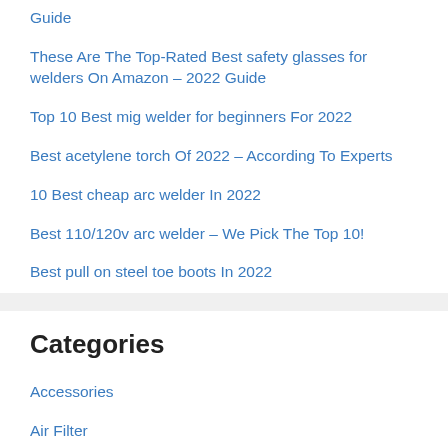Guide
These Are The Top-Rated Best safety glasses for welders On Amazon – 2022 Guide
Top 10 Best mig welder for beginners For 2022
Best acetylene torch Of 2022 – According To Experts
10 Best cheap arc welder In 2022
Best 110/120v arc welder – We Pick The Top 10!
Best pull on steel toe boots In 2022
Categories
Accessories
Air Filter